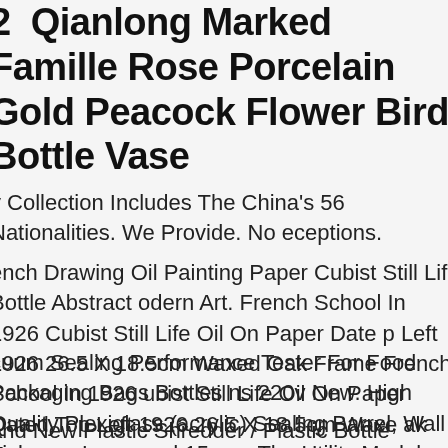2  Qianlong Marked Famille Rose Porcelain Gold Peacock Flower Bird Bottle Vase
y Collection Includes The China's 56 Nationalities. We Provide. No eceptions.
ench Drawing Oil Painting Paper Cubist Still Life Bottle Abstract odern Art. French School In 1926 Cubist Still Life Oil On Paper Date p Left 1926 26.5 X 18.5cm Waxed Oak Frame French School In 1926 ubist Still Life Oil On Paper Dated Top Left 1926 26.5 X 18.5cm Waxe ak Frame.
cuum Sealing Performance Tester For Food Packaging Bags Bottles ns 220v New. High Quality Plexiglass (acrylic) Sealing Barrel, Wall hickness Increased 15mm, The Utility Model Can Effectively Enhance he Compressive Strength Of The Sealing Barrel And Prolong The ervice Life.
and New Plastic Shredder / Plastic Bottle Crusher / Plastic